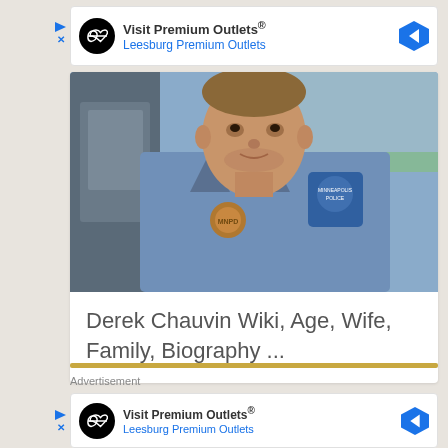[Figure (infographic): Advertisement banner for Visit Premium Outlets® - Leesburg Premium Outlets with black circle logo containing infinity symbol and blue diamond arrow icon]
[Figure (photo): Photo of a man in a blue Minneapolis Police uniform with badge and shoulder patch]
Derek Chauvin Wiki, Age, Wife, Family, Biography ...
[Figure (infographic): Advertisement banner for Visit Premium Outlets® - Leesburg Premium Outlets with black circle logo containing infinity symbol and blue diamond arrow icon]
Advertisement